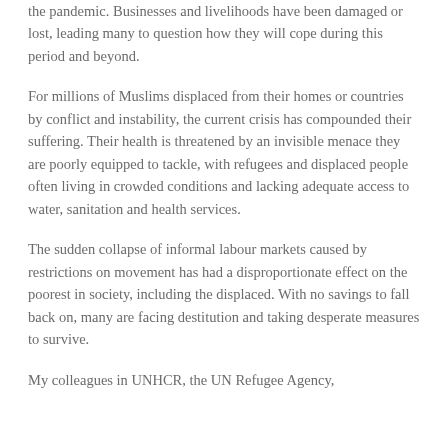the pandemic. Businesses and livelihoods have been damaged or lost, leading many to question how they will cope during this period and beyond.
For millions of Muslims displaced from their homes or countries by conflict and instability, the current crisis has compounded their suffering. Their health is threatened by an invisible menace they are poorly equipped to tackle, with refugees and displaced people often living in crowded conditions and lacking adequate access to water, sanitation and health services.
The sudden collapse of informal labour markets caused by restrictions on movement has had a disproportionate effect on the poorest in society, including the displaced. With no savings to fall back on, many are facing destitution and taking desperate measures to survive.
My colleagues in UNHCR, the UN Refugee Agency,